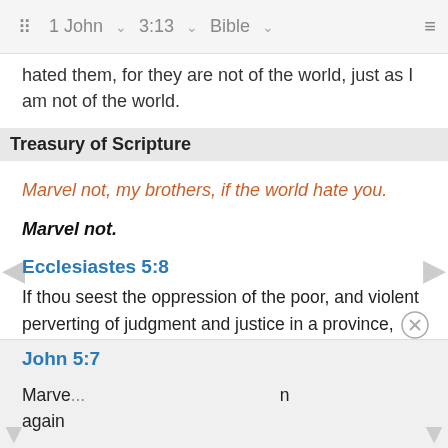1 John  3:13  Bible
hated them, for they are not of the world, just as I am not of the world.
Treasury of Scripture
Marvel not, my brothers, if the world hate you.
Marvel not.
Ecclesiastes 5:8
If thou seest the oppression of the poor, and violent perverting of judgment and justice in a province, marvel not at the matter: for he that is higher than the highest regardeth; and there be higher than they.
John
Marvel...n again...